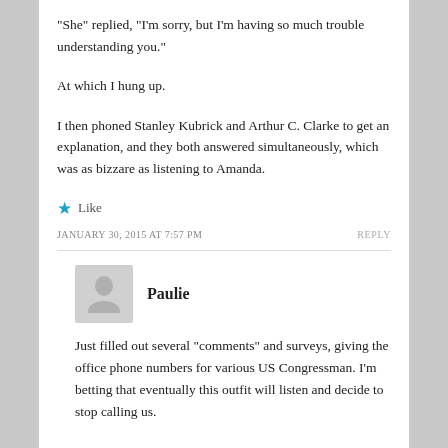“She” replied, “I’m sorry, but I’m having so much trouble understanding you.”
At which I hung up.
I then phoned Stanley Kubrick and Arthur C. Clarke to get an explanation, and they both answered simultaneously, which was as bizzare as listening to Amanda.
★ Like
JANUARY 30, 2015 AT 7:57 PM
REPLY
Paulie
Just filled out several “comments” and surveys, giving the office phone numbers for various US Congressman. I’m betting that eventually this outfit will listen and decide to stop calling us.